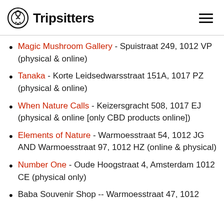Tripsitters
Magic Mushroom Gallery - Spuistraat 249, 1012 VP (physical & online)
Tanaka - Korte Leidsedwarsstraat 151A, 1017 PZ (physical & online)
When Nature Calls - Keizersgracht 508, 1017 EJ (physical & online [only CBD products online])
Elements of Nature - Warmoesstraat 54, 1012 JG AND Warmoesstraat 97, 1012 HZ (online & physical)
Number One - Oude Hoogstraat 4, Amsterdam 1012 CE (physical only)
Baba Souvenir Shop -- Warmoesstraat 47, 1012